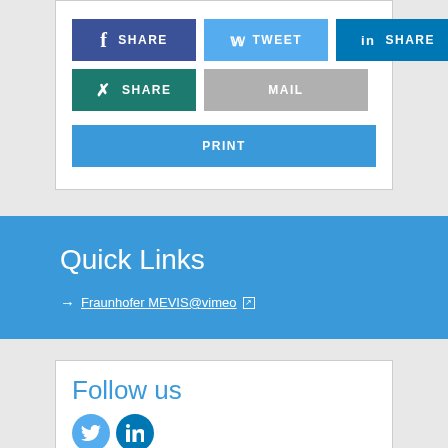[Figure (infographic): Social media share buttons: Facebook SHARE (dark blue), Twitter TWEET (light blue), LinkedIn SHARE (blue), XING SHARE (teal/dark green), MAIL (gray), and PRINT (blue)]
Quick Links
→ Fraunhofer MEVIS@vimeo [external link]
Follow us
[Figure (infographic): Two social media icon circles: Twitter (light blue) and LinkedIn (blue)]